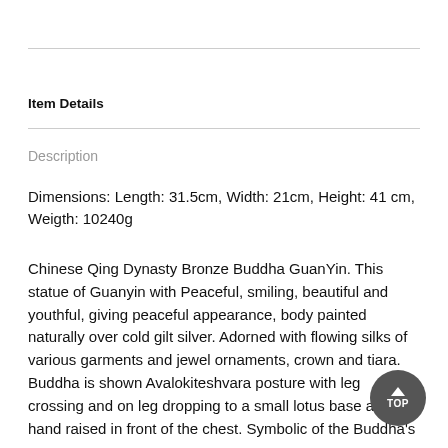Item Details
Description
Dimensions: Length: 31.5cm, Width: 21cm, Height: 41 cm, Weigth: 10240g
Chinese Qing Dynasty Bronze Buddha GuanYin. This statue of Guanyin with Peaceful, smiling, beautiful and youthful, giving peaceful appearance, body painted naturally over cold gilt silver. Adorned with flowing silks of various garments and jewel ornaments, crown and tiara. Buddha is shown Avalokiteshvara posture with leg crossing and one leg dropping to a small lotus base and two hands raised in front of the chest. Symbolic of the Buddha's